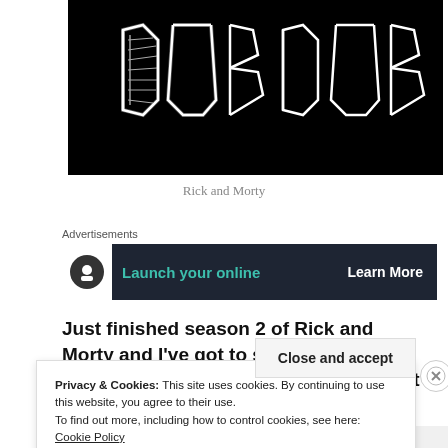[Figure (illustration): Black banner with white hand-drawn graffiti-style text reading 'DubDub' or stylized letters]
Rick and Morty
Advertisements
[Figure (infographic): Dark advertisement banner: icon on left, 'Launch your online' in teal text center, 'Learn More' in white text on right]
Just finished season 2 of Rick and Morty and I've got to say, it's a great show, just make sure you don't watch it
Privacy & Cookies: This site uses cookies. By continuing to use this website, you agree to their use.
To find out more, including how to control cookies, see here: Cookie Policy
Close and accept